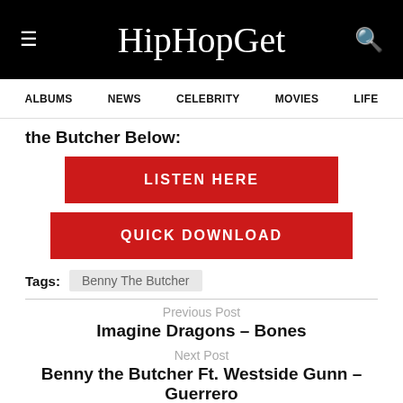HipHopGet
ALBUMS  NEWS  CELEBRITY  MOVIES  LIFE
the Butcher Below:
[Figure (other): Red LISTEN HERE button]
[Figure (other): Red QUICK DOWNLOAD button]
Tags: Benny The Butcher
Previous Post
Imagine Dragons – Bones
Next Post
Benny the Butcher Ft. Westside Gunn – Guerrero